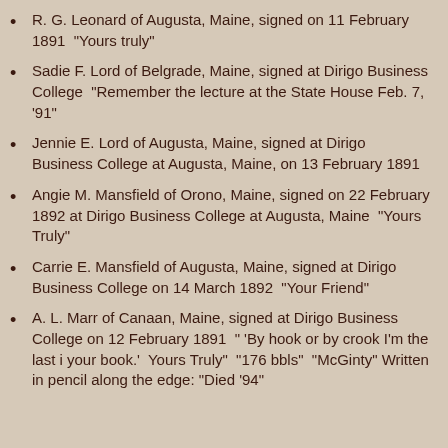R. G. Leonard of Augusta, Maine, signed on 11 February 1891  "Yours truly"
Sadie F. Lord of Belgrade, Maine, signed at Dirigo Business College  "Remember the lecture at the State House Feb. 7, '91"
Jennie E. Lord of Augusta, Maine, signed at Dirigo Business College at Augusta, Maine, on 13 February 1891
Angie M. Mansfield of Orono, Maine, signed on 22 February 1892 at Dirigo Business College at Augusta, Maine  "Yours Truly"
Carrie E. Mansfield of Augusta, Maine, signed at Dirigo Business College on 14 March 1892  "Your Friend"
A. L. Marr of Canaan, Maine, signed at Dirigo Business College on 12 February 1891  " 'By hook or by crook I'm the last i your book.'  Yours Truly"  "176 bbls"  "McGinty" Written in pencil along the edge: "Died '94"